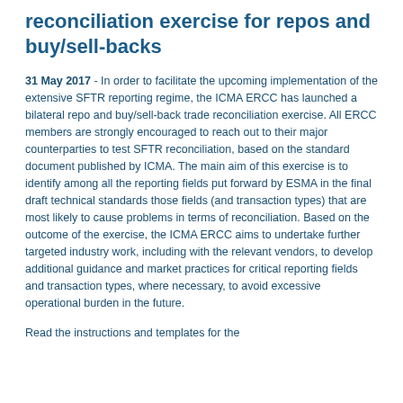reconciliation exercise for repos and buy/sell-backs
31 May 2017 - In order to facilitate the upcoming implementation of the extensive SFTR reporting regime, the ICMA ERCC has launched a bilateral repo and buy/sell-back trade reconciliation exercise. All ERCC members are strongly encouraged to reach out to their major counterparties to test SFTR reconciliation, based on the standard document published by ICMA. The main aim of this exercise is to identify among all the reporting fields put forward by ESMA in the final draft technical standards those fields (and transaction types) that are most likely to cause problems in terms of reconciliation. Based on the outcome of the exercise, the ICMA ERCC aims to undertake further targeted industry work, including with the relevant vendors, to develop additional guidance and market practices for critical reporting fields and transaction types, where necessary, to avoid excessive operational burden in the future.
Read the instructions and templates for the...